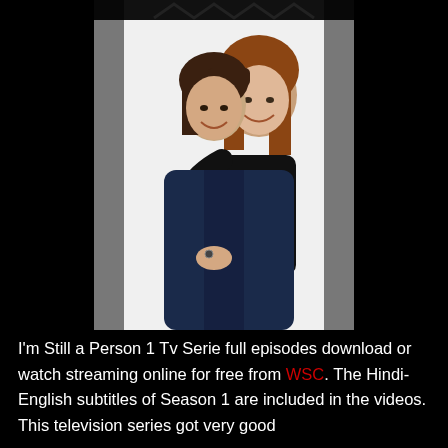[Figure (photo): Two women posing together; the woman in front wears a dark navy leather jacket and sits smiling; the woman behind leans over her shoulder smiling and hugging her. White background in the photo area, surrounded by black page background.]
I'm Still a Person 1 Tv Serie full episodes download or watch streaming online for free from WSC. The Hindi-English subtitles of Season 1 are included in the videos. This television series got very good